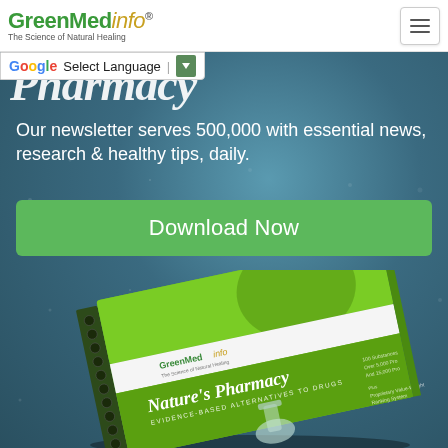GreenMedinfo® — The Science of Natural Healing
Pharmacy
Our newsletter serves 500,000 with essential news, research & healthy tips, daily.
Download Now
[Figure (photo): Spiral-bound book titled 'Nature's Pharmacy — Evidence-Based Alternatives to Drugs' by GreenMedinfo, shown at an angle on a wooden surface against a rainy blue-green background.]